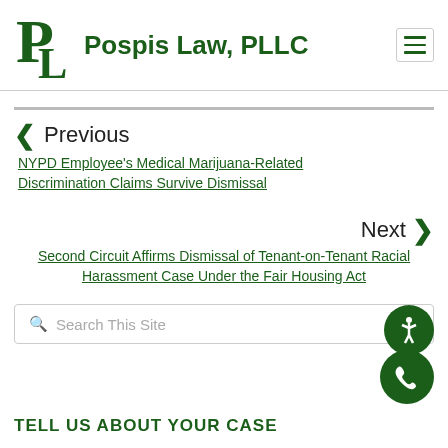Pospis Law, PLLC
Previous
NYPD Employee's Medical Marijuana-Related Discrimination Claims Survive Dismissal
Next
Second Circuit Affirms Dismissal of Tenant-on-Tenant Racial Harassment Case Under the Fair Housing Act
Search This Site
TELL US ABOUT YOUR CASE